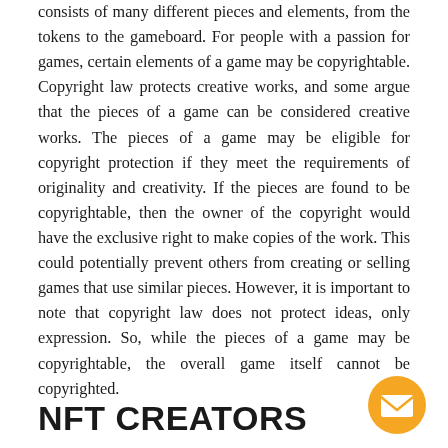consists of many different pieces and elements, from the tokens to the gameboard. For people with a passion for games, certain elements of a game may be copyrightable. Copyright law protects creative works, and some argue that the pieces of a game can be considered creative works. The pieces of a game may be eligible for copyright protection if they meet the requirements of originality and creativity. If the pieces are found to be copyrightable, then the owner of the copyright would have the exclusive right to make copies of the work. This could potentially prevent others from creating or selling games that use similar pieces. However, it is important to note that copyright law does not protect ideas, only expression. So, while the pieces of a game may be copyrightable, the overall game itself cannot be copyrighted.
NFT CREATORS
[Figure (illustration): Orange circle icon with white envelope/mail symbol inside]